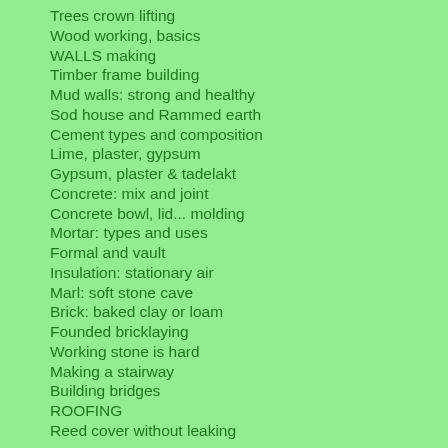Trees crown lifting
Wood working, basics
WALLS making
Timber frame building
Mud walls: strong and healthy
Sod house and Rammed earth
Cement types and composition
Lime, plaster, gypsum
Gypsum, plaster & tadelakt
Concrete: mix and joint
Concrete bowl, lid... molding
Mortar: types and uses
Formal and vault
Insulation: stationary air
Marl: soft stone cave
Brick: baked clay or loam
Founded bricklaying
Working stone is hard
Making a stairway
Building bridges
ROOFING
Reed cover without leaking
Tiles: nuns and priests
Slates
Sod roof
Wood shingles...